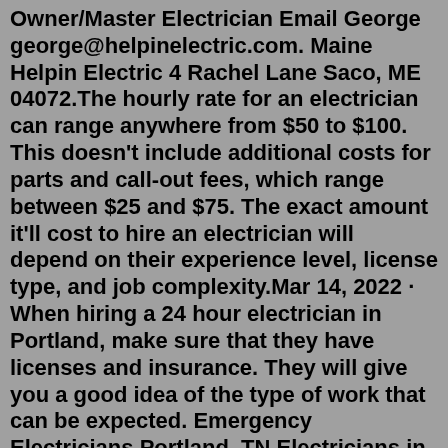Owner/Master Electrician Email George george@helpinelectric.com. Maine Helpin Electric 4 Rachel Lane Saco, ME 04072.The hourly rate for an electrician can range anywhere from $50 to $100. This doesn't include additional costs for parts and call-out fees, which range between $25 and $75. The exact amount it'll cost to hire an electrician will depend on their experience level, license type, and job complexity.Mar 14, 2022 · When hiring a 24 hour electrician in Portland, make sure that they have licenses and insurance. They will give you a good idea of the type of work that can be expected. Emergency Electricians Portland, TN Electricians in Portland, TN were initially people that demonstrated or studied the principles of electrical energy, frequently electrostatic generators of one form or another. Our Vancouver electricians provide residential electrical services and commercial electrical contractor services. Striving to be your local Vancouver WA electrician throughout Clark County. Skip to main content. Mr. Electric, Vancouver . Call (360) 219-